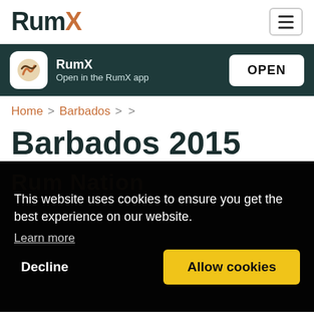RumX
RumX
Open in the RumX app
OPEN
Home > Barbados > >
Barbados 2015
[Figure (screenshot): Dark background area showing 'Rum Nation' watermark text with a cookie consent overlay containing text: 'This website uses cookies to ensure you get the best experience on our website. Learn more' and two buttons: 'Decline' and 'Allow cookies']
This website uses cookies to ensure you get the best experience on our website.
Learn more
Decline
Allow cookies